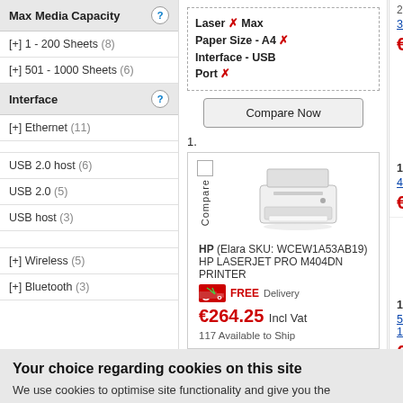Max Media Capacity
[+] 1 - 200 Sheets (8)
[+] 501 - 1000 Sheets (6)
Interface
[+] Ethernet (11)
USB 2.0 host (6)
USB 2.0 (5)
USB host (3)
[+] Wireless (5)
[+] Bluetooth (3)
Laser ✗ Max Paper Size - A4 ✗ Interface - USB Port ✗
Compare Now
1.
[Figure (photo): HP LaserJet Pro M404DN printer photo]
HP (Elara SKU: WCEW1A53AB19) HP LASERJET PRO M404DN PRINTER
FREE Delivery
€264.25 Incl Vat
117 Available to Ship
3. HP LASERJET SFP M209DWE
€227.39 Incl Vat
[Figure (photo): HP LaserJet SFP M209DWE printer photo]
169% HP
4. HP LaserJet M110we - Printer -
€149.97 Incl Vat
[Figure (photo): HP COLOR LASER 150A printer photo]
14% HP
5. COLOR LASER 150A/UP TO 18/4 PP
€313.17 Incl Vat
Your choice regarding cookies on this site
We use cookies to optimise site functionality and give you the